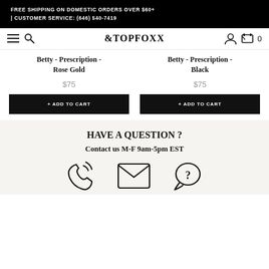FREE SHIPPING ON DOMESTIC ORDERS OVER $60+ | CUSTOMER SERVICE: (646) 540-7419
[Figure (logo): TopFoxx logo with navigation bar including hamburger menu, search icon, user icon, and cart icon showing 0 items]
Betty - Prescription - Rose Gold
$75
+ ADD TO CART
Betty - Prescription - Black
$75
+ ADD TO CART
HAVE A QUESTION ?
Contact us M-F 9am-5pm EST
[Figure (illustration): Three icons: phone/call icon, envelope/email icon, chat bubble with question mark icon]